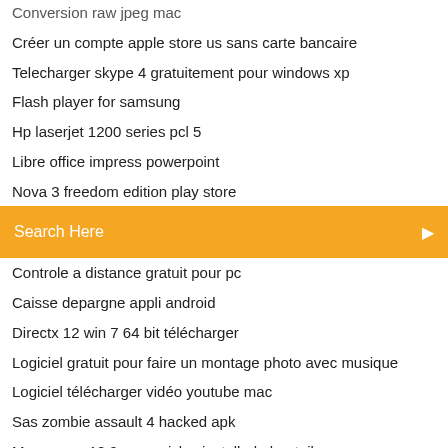Créer un compte apple store us sans carte bancaire
Telecharger skype 4 gratuitement pour windows xp
Flash player for samsung
Hp laserjet 1200 series pcl 5
Libre office impress powerpoint
Nova 3 freedom edition play store
[Figure (screenshot): Orange search bar with text 'Search Here' and a search icon on the right]
Controle a distance gratuit pour pc
Caisse depargne appli android
Directx 12 win 7 64 bit télécharger
Logiciel gratuit pour faire un montage photo avec musique
Logiciel télécharger vidéo youtube mac
Sas zombie assault 4 hacked apk
Mac_os_x_10.9_mavericks_install_dvd_retail
Telecharger tv orange pour pc portable
Mad games tycoon mmo addon guide
Jeu feed and grow fish